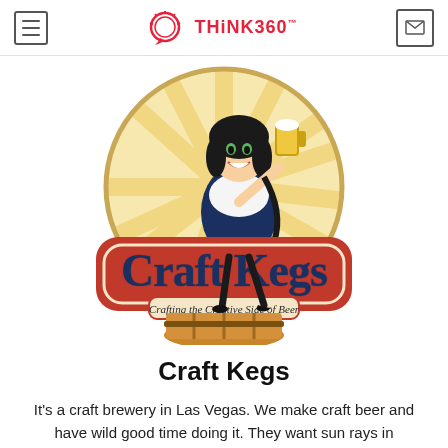THiNK360
[Figure (logo): Craft Kegs logo: a cartoon girl in Bavarian dress holding a beer mug, standing behind a red badge with 'Craft Kegs' text and tagline 'Crafting the Creative Side of Beer', with sunray background and wooden barrel]
Craft Kegs
It's a craft brewery in Las Vegas. We make craft beer and have wild good time doing it. They want sun rays in background with the logo in the middle and would like girl